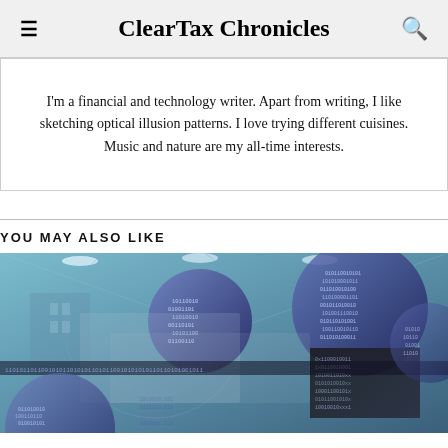ClearTax Chronicles
I'm a financial and technology writer. Apart from writing, I like sketching optical illusion patterns. I love trying different cuisines. Music and nature are my all-time interests.
YOU MAY ALSO LIKE
[Figure (photo): Abstract digital technology image with globe-like spheres covered in binary code, overlaid on a background of buildings and financial data, in blue and teal tones.]